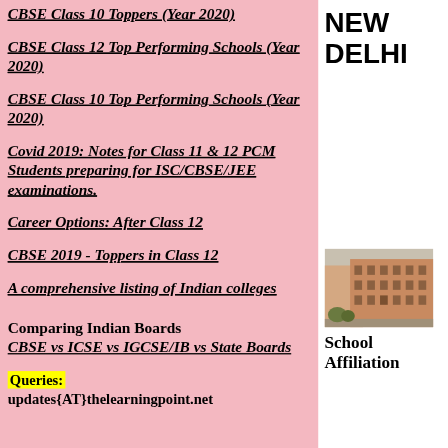CBSE Class 10 Toppers (Year 2020)
CBSE Class 12 Top Performing Schools (Year 2020)
CBSE Class 10 Top Performing Schools (Year 2020)
Covid 2019: Notes for Class 11 & 12 PCM Students preparing for ISC/CBSE/JEE examinations.
Career Options: After Class 12
CBSE 2019 - Toppers in Class 12
A comprehensive listing of Indian colleges
Comparing Indian Boards
CBSE vs ICSE vs IGCSE/IB vs State Boards
Queries:
updates{AT}thelearningpoint.net
NEW DELHI
[Figure (photo): Photo of a school building with reddish-brown exterior walls]
School Affiliation